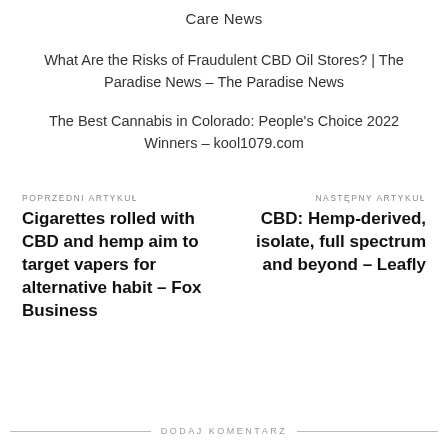Care News
What Are the Risks of Fraudulent CBD Oil Stores? | The Paradise News – The Paradise News
The Best Cannabis in Colorado: People's Choice 2022 Winners – kool1079.com
POPRZEDNI ARTYKUŁ
Cigarettes rolled with CBD and hemp aim to target vapers for alternative habit – Fox Business
NASTĘPNY ARTYKUŁ
CBD: Hemp-derived, isolate, full spectrum and beyond – Leafly
DODAJ KOMENTARZ